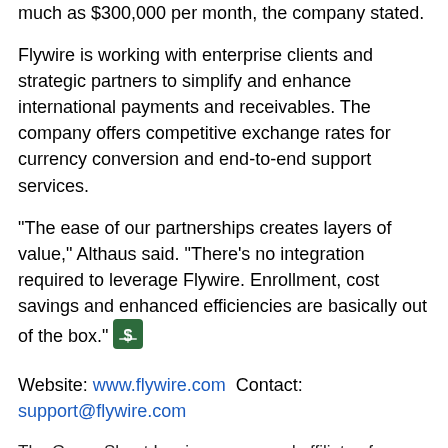much as $300,000 per month, the company stated.
Flywire is working with enterprise clients and strategic partners to simplify and enhance international payments and receivables. The company offers competitive exchange rates for currency conversion and end-to-end support services.
"The ease of our partnerships creates layers of value," Althaus said. "There's no integration required to leverage Flywire. Enrollment, cost savings and enhanced efficiencies are basically out of the box."
Website: www.flywire.com Contact: support@flywire.com
The Green Sheet Inc. is now a proud affiliate of Bankcard Life, a premier community that provides industry-leading training and resources for payment professionals. Click here for more